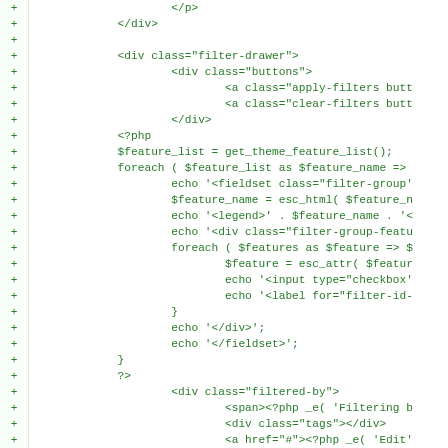[Figure (screenshot): Code diff view showing PHP/HTML code with green plus signs indicating added lines. The code shows a filter-drawer div with buttons, PHP feature list iteration, and a filtered-by div section.]